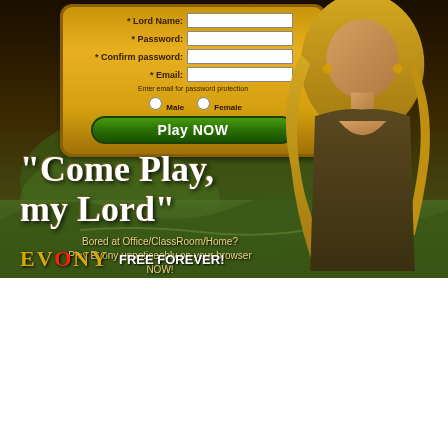[Figure (screenshot): Top Evony game advertisement with registration form on parchment-style panel, blonde woman on right, medieval landscape background. Text: Lord Name, Password, Confirm password, Email fields, Male/Female radio, Play NOW button, 'Come Play, my Lord' slogan, 'Bored at Office/ClassRoom/Home? Play Evony unnoticeably on your browser NOW! Evony - the best web game!' EVONY FREE FOREVER!]
[Figure (screenshot): Bottom Evony game advertisement with 'My Lord' parchment registration form, dark-haired woman in bikini on right, landscape background. Text: My Lord, Username/Password/Confirm password/Email fields, Enter your address, Male/Female radio, Sign Up & Play Instantly! button, 'Sign Up to get MORE!' slogan.]